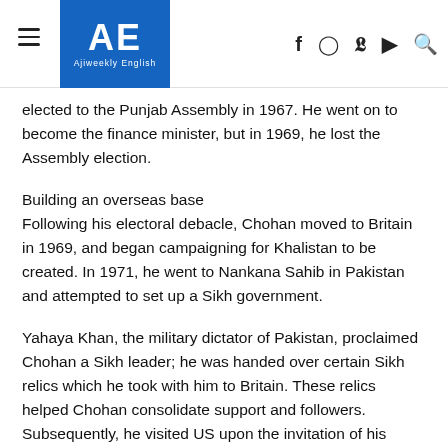AE Ajiweekly English
elected to the Punjab Assembly in 1967. He went on to become the finance minister, but in 1969, he lost the Assembly election.
Building an overseas base
Following his electoral debacle, Chohan moved to Britain in 1969, and began campaigning for Khalistan to be created. In 1971, he went to Nankana Sahib in Pakistan and attempted to set up a Sikh government.
Yahaya Khan, the military dictator of Pakistan, proclaimed Chohan a Sikh leader; he was handed over certain Sikh relics which he took with him to Britain. These relics helped Chohan consolidate support and followers. Subsequently, he visited US upon the invitation of his supporters in the Sikh diaspora.
On October 13, 1971, The New York Times carried a paid ad